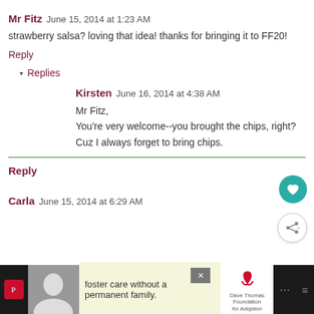Mr Fitz  June 15, 2014 at 1:23 AM
strawberry salsa? loving that idea! thanks for bringing it to FF20!
Reply
▾ Replies
Kirsten  June 16, 2014 at 4:38 AM
Mr Fitz,
You're very welcome--you brought the chips, right? Cuz I always forget to bring chips.
Reply
Carla  June 15, 2014 at 6:29 AM
[Figure (other): Advertisement banner: foster care without a permanent family - Dave Thomas Foundation for Adoption, with close button and surrounding dark UI elements]